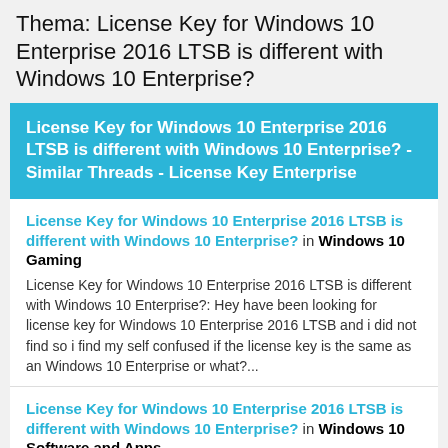Thema: License Key for Windows 10 Enterprise 2016 LTSB is different with Windows 10 Enterprise?
License Key for Windows 10 Enterprise 2016 LTSB is different with Windows 10 Enterprise? - Similar Threads - License Key Enterprise
License Key for Windows 10 Enterprise 2016 LTSB is different with Windows 10 Enterprise? in Windows 10 Gaming
License Key for Windows 10 Enterprise 2016 LTSB is different with Windows 10 Enterprise?: Hey have been looking for license key for Windows 10 Enterprise 2016 LTSB and i did not find so i find my self confused if the license key is the same as an Windows 10 Enterprise or what?...
License Key for Windows 10 Enterprise 2016 LTSB is different with Windows 10 Enterprise? in Windows 10 Software and Apps
License Key for Windows 10 Enterprise 2016 LTSB is different with Windows 10 Enterprise?: Hey have been looking for license key for Windows 10 Enterprise 2016 LTSB and i did not find so i find my self confused if the license key is the same as an